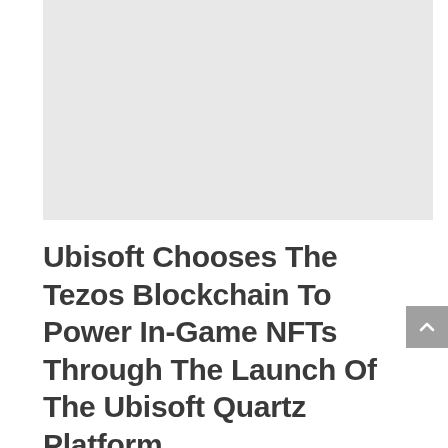[Figure (photo): Gray placeholder image area at top of article]
Ubisoft Chooses The Tezos Blockchain To Power In-Game NFTs Through The Launch Of The Ubisoft Quartz Platform